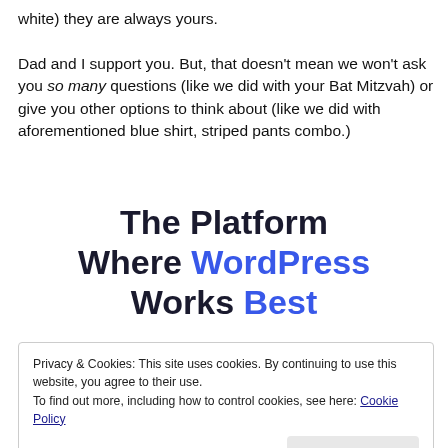white) they are always yours.

Dad and I support you. But, that doesn't mean we won't ask you so many questions (like we did with your Bat Mitzvah) or give you other options to think about (like we did with aforementioned blue shirt, striped pants combo.)
The Platform Where WordPress Works Best
Privacy & Cookies: This site uses cookies. By continuing to use this website, you agree to their use.
To find out more, including how to control cookies, see here: Cookie Policy
Close and accept